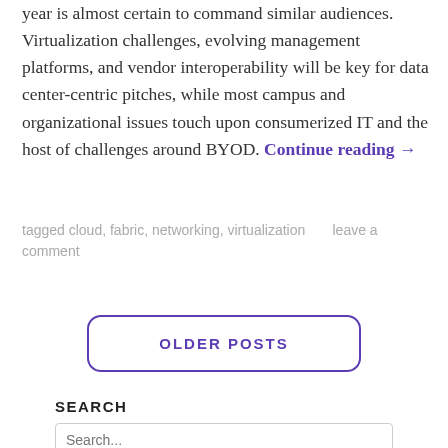year is almost certain to command similar audiences. Virtualization challenges, evolving management platforms, and vendor interoperability will be key for data center-centric pitches, while most campus and organizational issues touch upon consumerized IT and the host of challenges around BYOD. Continue reading →
tagged cloud, fabric, networking, virtualization     leave a comment
OLDER POSTS
SEARCH